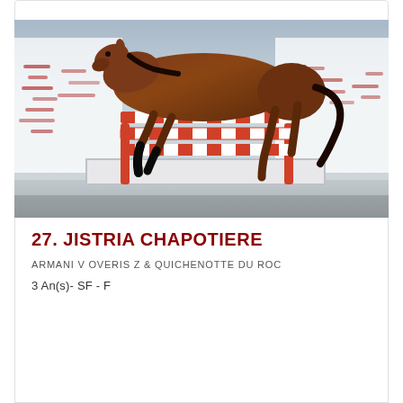[Figure (photo): A bay horse jumping over a red and white striped obstacle in an indoor arena. The horse is captured mid-jump, arching over the poles. White panels with red markings are visible in the background.]
27. JISTRIA CHAPOTIERE
ARMANI V OVERIS Z & QUICHENOTTE DU ROC
3 An(s)- SF - F